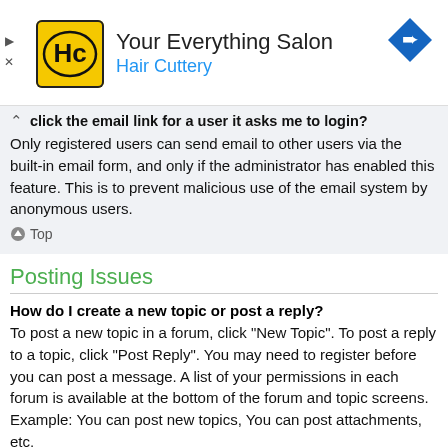[Figure (infographic): Hair Cuttery advertisement banner with logo (HC in yellow circle), text 'Your Everything Salon / Hair Cuttery', navigation arrow icon, and ad control arrows on left]
click the email link for a user it asks me to login?
Only registered users can send email to other users via the built-in email form, and only if the administrator has enabled this feature. This is to prevent malicious use of the email system by anonymous users.
Top
Posting Issues
How do I create a new topic or post a reply?
To post a new topic in a forum, click "New Topic". To post a reply to a topic, click "Post Reply". You may need to register before you can post a message. A list of your permissions in each forum is available at the bottom of the forum and topic screens. Example: You can post new topics, You can post attachments, etc.
Top